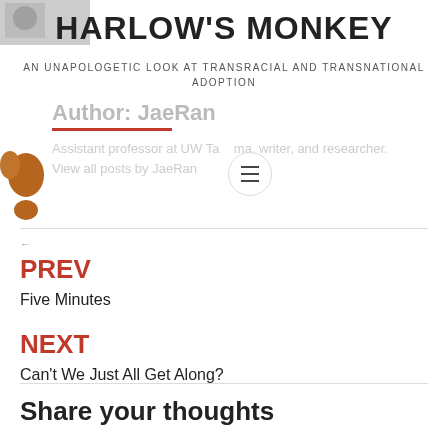HARLOW'S MONKEY
AN UNAPOLOGETIC LOOK AT TRANSRACIAL AND TRANSNATIONAL ADOPTION
Author: JaeRan
Assistant professor at UW Tacoma, writer, and researcher. View all posts by JaeRan
PREV
Five Minutes
NEXT
Can't We Just All Get Along?
Share your thoughts